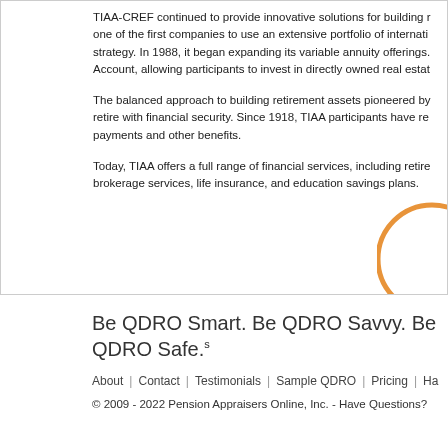TIAA-CREF continued to provide innovative solutions for building retirement assets, one of the first companies to use an extensive portfolio of international securities strategy. In 1988, it began expanding its variable annuity offerings. Account, allowing participants to invest in directly owned real estate.
The balanced approach to building retirement assets pioneered by TIAA has helped many retire with financial security. Since 1918, TIAA participants have received annuity payments and other benefits.
Today, TIAA offers a full range of financial services, including retirement plan services, brokerage services, life insurance, and education savings plans.
[Figure (illustration): Partial orange circle decoration in bottom-right corner of content box]
Be QDRO Smart. Be QDRO Savvy. Be QDRO Safe.
About | Contact | Testimonials | Sample QDRO | Pricing | Ha...
© 2009 - 2022 Pension Appraisers Online, Inc. - Have Questions?